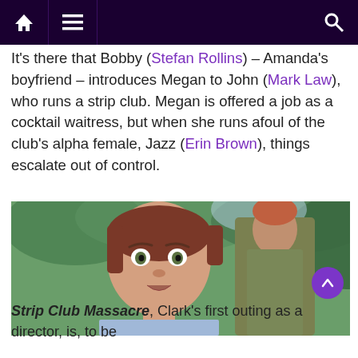Navigation bar with home, menu, and search icons
It's there that Bobby (Stefan Rollins) – Amanda's boyfriend – introduces Megan to John (Mark Law), who runs a strip club. Megan is offered a job as a cocktail waitress, but when she runs afoul of the club's alpha female, Jazz (Erin Brown), things escalate out of control.
[Figure (photo): Two women outdoors among trees; foreground woman with short reddish-brown hair and blue shirt looks directly at camera wide-eyed; background woman with reddish hair wears an olive green jacket]
Strip Club Massacre, Clark's first outing as a director, is, to be